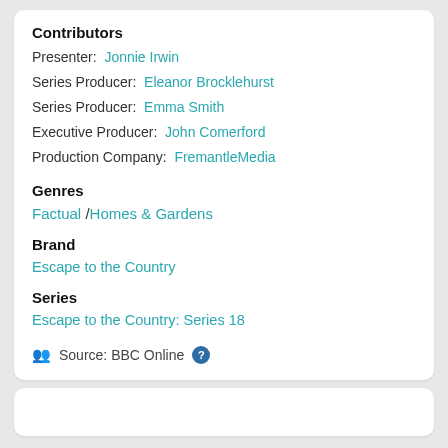Contributors
Presenter: Jonnie Irwin
Series Producer: Eleanor Brocklehurst
Series Producer: Emma Smith
Executive Producer: John Comerford
Production Company: FremantleMedia
Genres
Factual / Homes & Gardens
Brand
Escape to the Country
Series
Escape to the Country: Series 18
Source: BBC Online